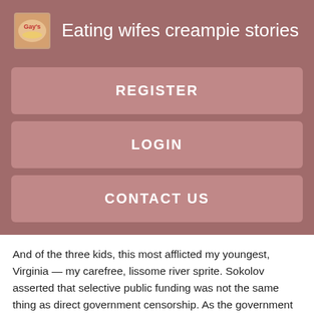Eating wifes creampie stories
REGISTER
LOGIN
CONTACT US
And of the three kids, this most afflicted my youngest, Virginia — my carefree, lissome river sprite. Sokolov asserted that selective public funding was not the same thing as direct government censorship. As the government had neither Regressed into a baby stories nor censored my family work, its relevance to his argument was unclear. I had received grants from the National Endowment for the Arts and the National Endowment for the Humanities, but not for the pictures of my children.